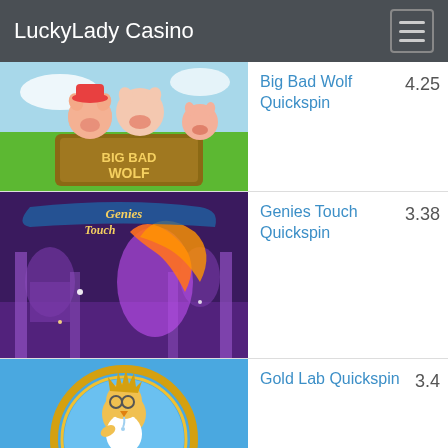LuckyLady Casino
[Figure (screenshot): Big Bad Wolf slot game thumbnail showing three cartoon pigs with a wooden sign reading BIG BAD WOLF against a green background]
Big Bad Wolf Quickspin  4.25
[Figure (screenshot): Genies Touch slot game thumbnail showing a glowing genie woman with fiery hair against a purple Middle Eastern backdrop with the Genies Touch logo]
Genies Touch Quickspin  3.38
[Figure (screenshot): Gold Lab Quickspin slot game thumbnail showing a cartoon scientist bird character against a blue background]
Gold Lab Quickspin  3.4